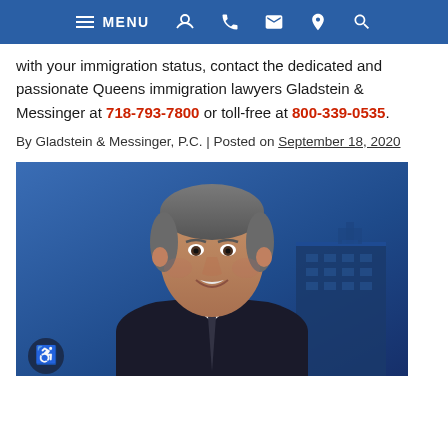MENU [navigation icons: phone, email, location, search]
with your immigration status, contact the dedicated and passionate Queens immigration lawyers Gladstein & Messinger at 718-793-7800 or toll-free at 800-339-0535.
By Gladstein & Messinger, P.C. | Posted on September 18, 2020
[Figure (photo): Professional headshot of a middle-aged man smiling, with short grey hair, wearing a dark suit. Background is a blue-toned cityscape with a tall building visible. An accessibility icon (wheelchair symbol) appears in the lower-left corner of the image.]